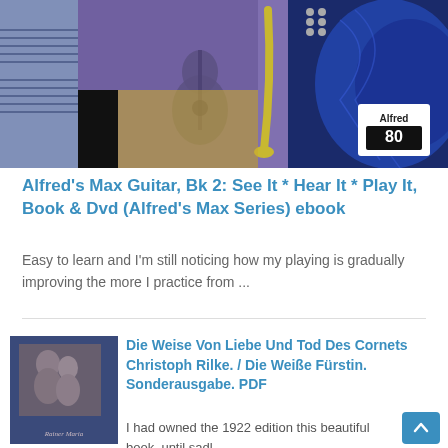[Figure (photo): Banner image with guitar-themed collage: sheet music, acoustic guitar, saxophone, blue electric guitar headstock, Alfred 80th anniversary logo]
Alfred's Max Guitar, Bk 2: See It * Hear It * Play It, Book & Dvd (Alfred's Max Series) ebook
Easy to learn and I'm still noticing how my playing is gradually improving the more I practice from ...
[Figure (photo): Book cover for 'Die Weise Von Liebe Und Tod Des Cornets Christoph Rilke. / Die Weiße Fürstin. Sonderausgabe.' – dark blue cover with a black-and-white photo of two figures and text 'Rainer Maria' at bottom]
Die Weise Von Liebe Und Tod Des Cornets Christoph Rilke. / Die Weiße Fürstin. Sonderausgabe. PDF
I had owned the 1922 edition this beautiful book, until sadl